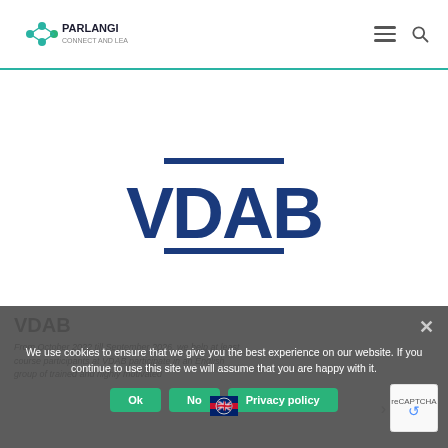PARLANGI logo, hamburger menu icon, search icon
[Figure (logo): VDAB logo — large bold dark blue text VDAB with two horizontal dark blue lines above and below the text]
We use cookies to ensure that we give you the best experience on our website. If you continue to use this site we will assume that you are happy with it.
Ok  No  Privacy policy
VDAB
From October 2022 till September 2026, we help at least course participants at VDAB participate in an English group of trained and highly motivated